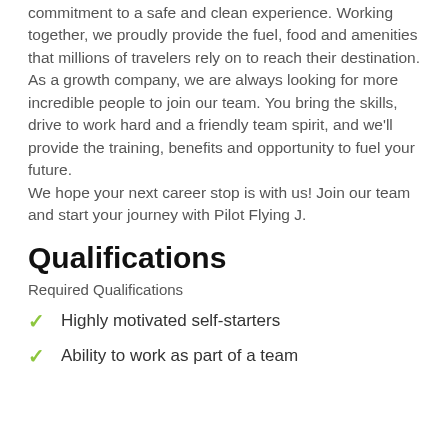commitment to a safe and clean experience. Working together, we proudly provide the fuel, food and amenities that millions of travelers rely on to reach their destination. As a growth company, we are always looking for more incredible people to join our team. You bring the skills, drive to work hard and a friendly team spirit, and we'll provide the training, benefits and opportunity to fuel your future.
We hope your next career stop is with us! Join our team and start your journey with Pilot Flying J.
Qualifications
Required Qualifications
Highly motivated self-starters
Ability to work as part of a team